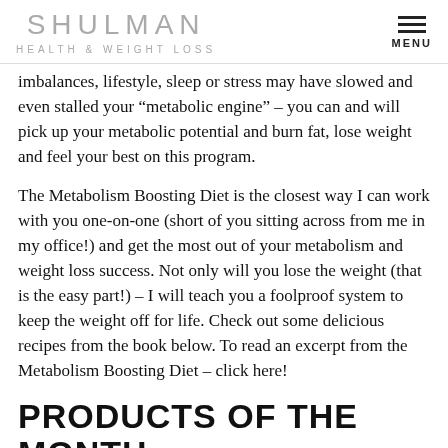SHULMAN HEALTH & WEIGHT LOSS
imbalances, lifestyle, sleep or stress may have slowed and even stalled your “metabolic engine” – you can and will pick up your metabolic potential and burn fat, lose weight and feel your best on this program.
The Metabolism Boosting Diet is the closest way I can work with you one-on-one (short of you sitting across from me in my office!) and get the most out of your metabolism and weight loss success. Not only will you lose the weight (that is the easy part!) – I will teach you a foolproof system to keep the weight off for life. Check out some delicious recipes from the book below. To read an excerpt from the Metabolism Boosting Diet – click here!
PRODUCTS OF THE MONTH